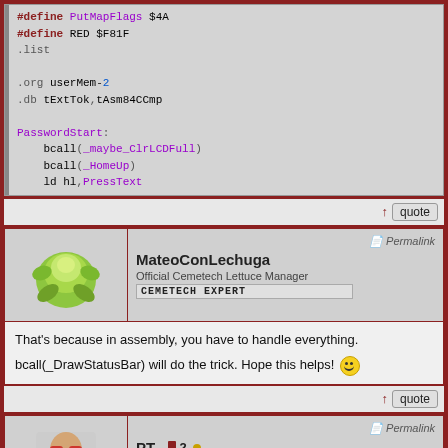[Figure (screenshot): Code block showing assembly language source code with #define macros, .list, .org, .db directives, and PasswordStart label with bcall and ld instructions]
↑  quote
[Figure (screenshot): Forum post header for user MateoConLechuga with lettuce avatar, title 'Official Cemetech Lettuce Manager', rank 'CEMETECH EXPERT', and Permalink]
That's because in assembly, you have to handle everything.

bcall(_DrawStatusBar) will do the trick. Hope this helps!
↑  quote
[Figure (screenshot): Forum post header for user PT_ with avatar, Site Admin title, rank dots, and Permalink]
Here's another thing. When "Enable HomeRun feature" is set, it takes more time to run an asm program.
[Figure (screenshot): TI calculator status bar showing NORMAL FLOAT AUTO REAL RADIAN MP with battery icon]